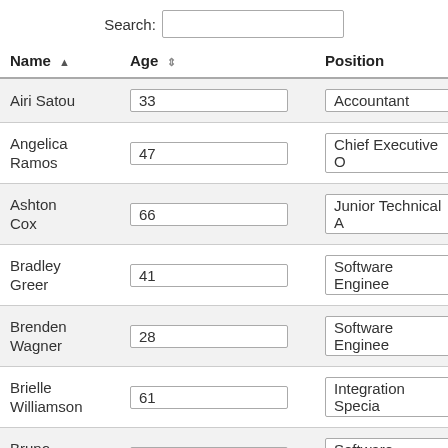| Name | Age | Position |
| --- | --- | --- |
| Airi Satou | 33 | Accountant |
| Angelica Ramos | 47 | Chief Executive O... |
| Ashton Cox | 66 | Junior Technical A... |
| Bradley Greer | 41 | Software Enginee... |
| Brenden Wagner | 28 | Software Enginee... |
| Brielle Williamson | 61 | Integration Specia... |
| Bruno Nash | 38 | Software Enginee... |